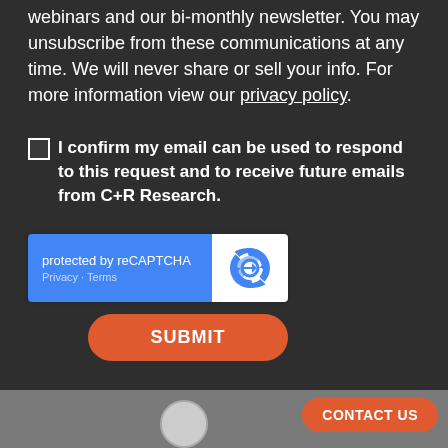webinars and our bi-monthly newsletter. You may unsubscribe from these communications at any time. We will never share or sell your info. For more information view our privacy policy.
I confirm my email can be used to respond to this request and to receive future emails from C+R Research.
[Figure (other): reCAPTCHA widget with blue left panel showing 'protected by reCAPTCHA' and Privacy/Terms links, and white right panel with reCAPTCHA logo]
SUBMIT
CONTACT US